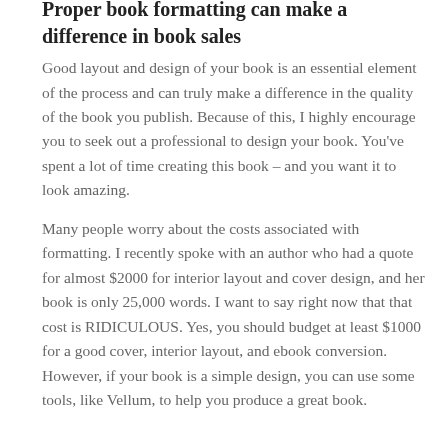made a LOT of mistakes!
Proper book formatting can make a difference in book sales
Good layout and design of your book is an essential element of the process and can truly make a difference in the quality of the book you publish. Because of this, I highly encourage you to seek out a professional to design your book. You've spent a lot of time creating this book – and you want it to look amazing.
Many people worry about the costs associated with formatting. I recently spoke with an author who had a quote for almost $2000 for interior layout and cover design, and her book is only 25,000 words. I want to say right now that that cost is RIDICULOUS. Yes, you should budget at least $1000 for a good cover, interior layout, and ebook conversion. However, if your book is a simple design, you can use some tools, like Vellum, to help you produce a great book.